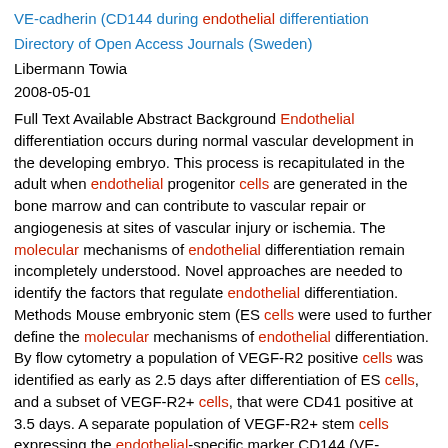VE-cadherin (CD144 during endothelial differentiation
Directory of Open Access Journals (Sweden)
Libermann Towia
2008-05-01
Full Text Available Abstract Background Endothelial differentiation occurs during normal vascular development in the developing embryo. This process is recapitulated in the adult when endothelial progenitor cells are generated in the bone marrow and can contribute to vascular repair or angiogenesis at sites of vascular injury or ischemia. The molecular mechanisms of endothelial differentiation remain incompletely understood. Novel approaches are needed to identify the factors that regulate endothelial differentiation. Methods Mouse embryonic stem (ES cells were used to further define the molecular mechanisms of endothelial differentiation. By flow cytometry a population of VEGF-R2 positive cells was identified as early as 2.5 days after differentiation of ES cells, and a subset of VEGF-R2+ cells, that were CD41 positive at 3.5 days. A separate population of VEGF-R2+ stem cells expressing the endothelial-specific marker CD144 (VE-cadherin was also identified at this